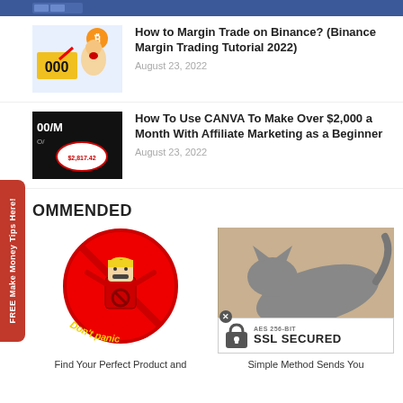[Figure (screenshot): Blue social media strip at top]
[Figure (illustration): Thumbnail for Binance Margin Trading article showing man with bitcoin and $1000 sign]
How to Margin Trade on Binance? (Binance Margin Trading Tutorial 2022)
August 23, 2022
[Figure (screenshot): Thumbnail for CANVA affiliate marketing article showing $2,817.42 earnings]
How To Use CANVA To Make Over $2,000 a Month With Affiliate Marketing as a Beginner
August 23, 2022
OMMENDED
[Figure (illustration): Don't Panic image with cartoon Trump figure in red no-sign circle]
Find Your Perfect Product and
[Figure (photo): Cat stretching on floor with SSL Secured badge overlay]
Simple Method Sends You